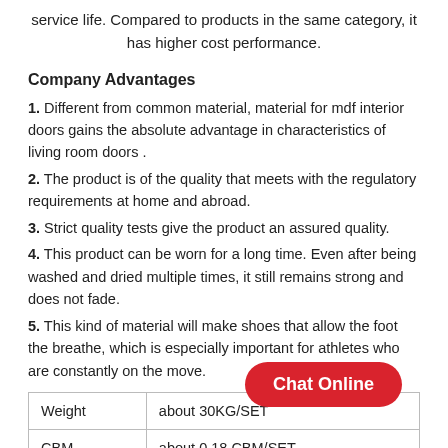service life. Compared to products in the same category, it has higher cost performance.
Company Advantages
1. Different from common material, material for mdf interior doors gains the absolute advantage in characteristics of living room doors .
2. The product is of the quality that meets with the regulatory requirements at home and abroad.
3. Strict quality tests give the product an assured quality.
4. This product can be worn for a long time. Even after being washed and dried multiple times, it still remains strong and does not fade.
5. This kind of material will make shoes that allow the foot the breathe, which is especially important for athletes who are constantly on the move.
|  |  |
| --- | --- |
| Weight | about 30KG/SET |
| CBM | about 0.18 CBM/SET |